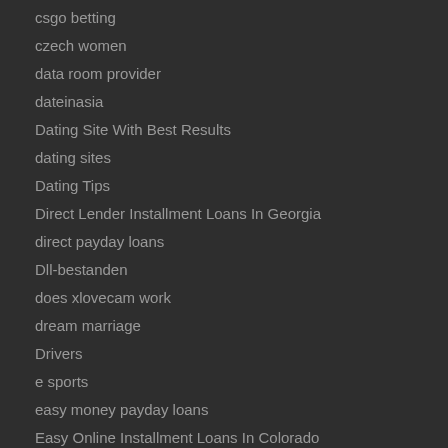csgo betting
czech women
data room provider
dateinasia
Dating Site With Best Results
dating sites
Dating Tips
Direct Lender Installment Loans In Georgia
direct payday loans
Dll-bestanden
does xlovecam work
dream marriage
Drivers
e sports
easy money payday loans
Easy Online Installment Loans In Colorado
Ebony Dxlive